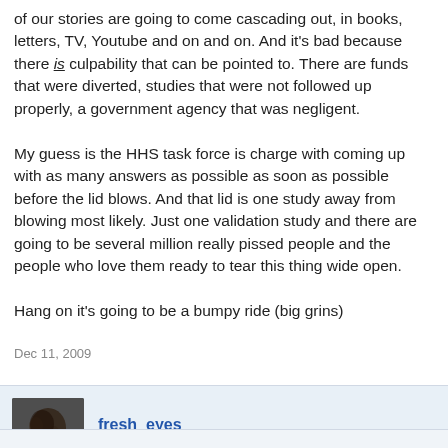of our stories are going to come cascading out, in books, letters, TV, Youtube and on and on. And it's bad because there is culpability that can be pointed to. There are funds that were diverted, studies that were not followed up properly, a government agency that was negligent.

My guess is the HHS task force is charge with coming up with as many answers as possible as soon as possible before the lid blows. And that lid is one study away from blowing most likely. Just one validation study and there are going to be several million really pissed people and the people who love them ready to tear this thing wide open.

Hang on it's going to be a bumpy ride (big grins)
Dec 11, 2009
fresh_eyes
happy to be here